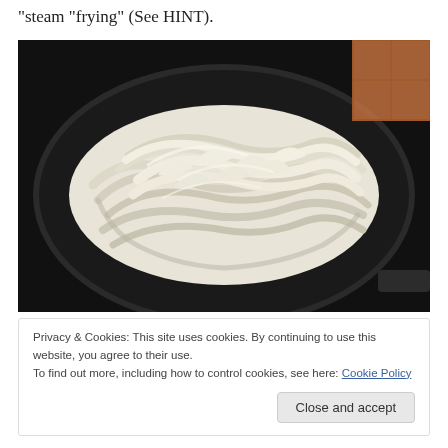“steam “frying” (See HINT).
[Figure (photo): Sliced raw onions in a dark non-stick frying pan on a stovetop, viewed from above. The onions are white/cream colored and thinly sliced, piled in the center of the pan.]
Privacy & Cookies: This site uses cookies. By continuing to use this website, you agree to their use.
To find out more, including how to control cookies, see here: Cookie Policy
Close and accept